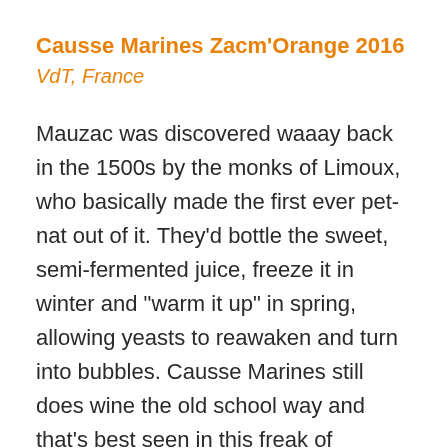Causse Marines Zacm'Orange 2016
VdT, France
Mauzac was discovered waaay back in the 1500s by the monks of Limoux, who basically made the first ever pet-nat out of it. They’d bottle the sweet, semi-fermented juice, freeze it in winter and “warm it up” in spring, allowing yeasts to reawaken and turn into bubbles. Causse Marines still does wine the old school way and that’s best seen in this freak of